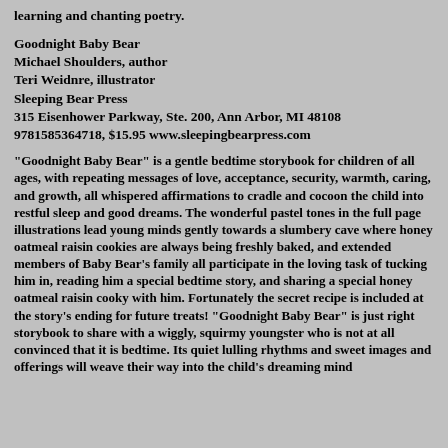learning and chanting poetry.
Goodnight Baby Bear
Michael Shoulders, author
Teri Weidnre, illustrator
Sleeping Bear Press
315 Eisenhower Parkway, Ste. 200, Ann Arbor, MI 48108
9781585364718, $15.95 www.sleepingbearpress.com
"Goodnight Baby Bear" is a gentle bedtime storybook for children of all ages, with repeating messages of love, acceptance, security, warmth, caring, and growth, all whispered affirmations to cradle and cocoon the child into restful sleep and good dreams. The wonderful pastel tones in the full page illustrations lead young minds gently towards a slumbery cave where honey oatmeal raisin cookies are always being freshly baked, and extended members of Baby Bear's family all participate in the loving task of tucking him in, reading him a special bedtime story, and sharing a special honey oatmeal raisin cooky with him. Fortunately the secret recipe is included at the story's ending for future treats! "Goodnight Baby Bear" is just right storybook to share with a wiggly, squirmy youngster who is not at all convinced that it is bedtime. Its quiet lulling rhythms and sweet images and offerings will weave their way into the child's dreaming mind and lead to restful dreams and sweet dreams.